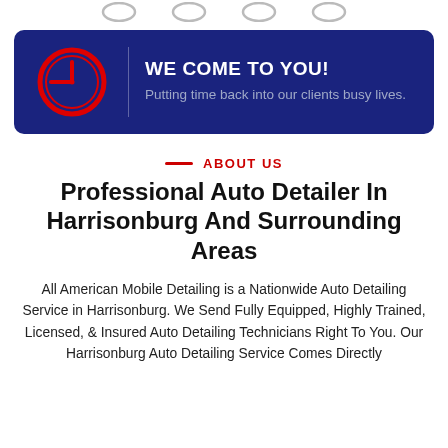[Icon row at top]
[Figure (infographic): Dark blue rounded banner with a red clock icon on the left, a vertical divider line, and text on the right reading 'WE COME TO YOU!' in bold white with subtitle 'Putting time back into our clients busy lives.' in grey-blue.]
ABOUT US
Professional Auto Detailer In Harrisonburg And Surrounding Areas
All American Mobile Detailing is a Nationwide Auto Detailing Service in Harrisonburg. We Send Fully Equipped, Highly Trained, Licensed, & Insured Auto Detailing Technicians Right To You. Our Harrisonburg Auto Detailing Service Comes Directly